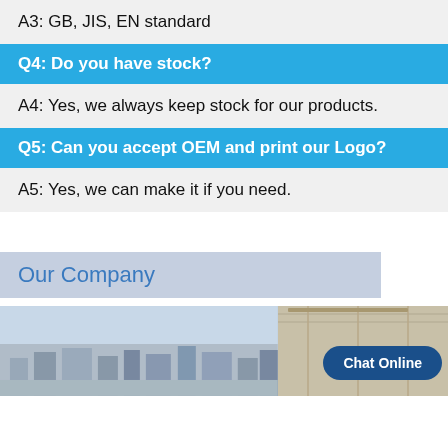A3: GB, JIS, EN standard
Q4: Do you have stock?
A4: Yes, we always keep stock for our products.
Q5: Can you accept OEM and print our Logo?
A5: Yes, we can make it if you need.
Our Company
[Figure (photo): Two company facility photos side by side, one showing a cityscape/factory exterior, another showing an interior view. A 'Chat Online' button overlays the right photo.]